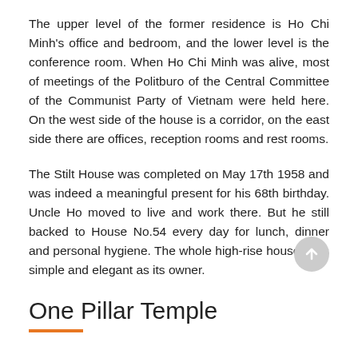The upper level of the former residence is Ho Chi Minh's office and bedroom, and the lower level is the conference room. When Ho Chi Minh was alive, most of meetings of the Politburo of the Central Committee of the Communist Party of Vietnam were held here. On the west side of the house is a corridor, on the east side there are offices, reception rooms and rest rooms.
The Stilt House was completed on May 17th 1958 and was indeed a meaningful present for his 68th birthday. Uncle Ho moved to live and work there. But he still backed to House No.54 every day for lunch, dinner and personal hygiene. The whole high-rise house is as simple and elegant as its owner.
One Pillar Temple